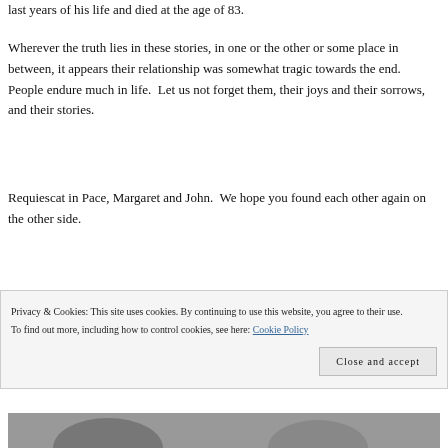last years of his life and died at the age of 83.
Wherever the truth lies in these stories, in one or the other or some place in between, it appears their relationship was somewhat tragic towards the end. People endure much in life.  Let us not forget them, their joys and their sorrows, and their stories.
Requiescat in Pace, Margaret and John.  We hope you found each other again on the other side.
Privacy & Cookies: This site uses cookies. By continuing to use this website, you agree to their use.
To find out more, including how to control cookies, see here: Cookie Policy
Close and accept
[Figure (photo): Partial photo strip visible at the bottom of the page, showing what appears to be a person or portrait, cropped.]